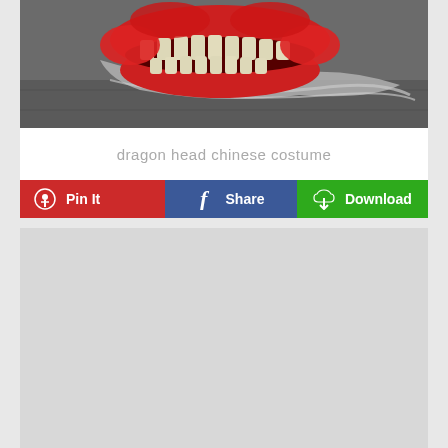[Figure (photo): Photo of a dragon head Chinese costume prop with red foam/rubber mouth, large white teeth, and grey/silver flowing beard or hair, resting on a stone or concrete surface.]
dragon head chinese costume
[Figure (screenshot): Three social sharing buttons in a row: 'Pin It' (red with Pinterest logo), 'Share' (blue with Facebook f logo), 'Download' (green with cloud/download icon).]
[Figure (other): Gray advertisement or content placeholder box.]